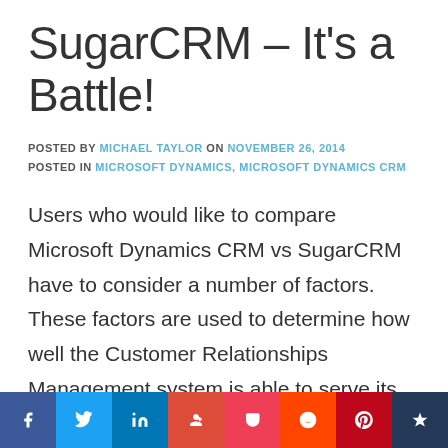SugarCRM – It's a Battle!
POSTED BY MICHAEL TAYLOR ON NOVEMBER 26, 2014 POSTED IN MICROSOFT DYNAMICS, MICROSOFT DYNAMICS CRM
Users who would like to compare Microsoft Dynamics CRM vs SugarCRM have to consider a number of factors. These factors are used to determine how well the Customer Relationships Management system is able to serve its purpose. The comparison will help users to choose the CRM that is ideal for their business or company.
Social share bar: Facebook, Twitter, LinkedIn, Google+, Pocket, Reddit, Pinterest, Klout